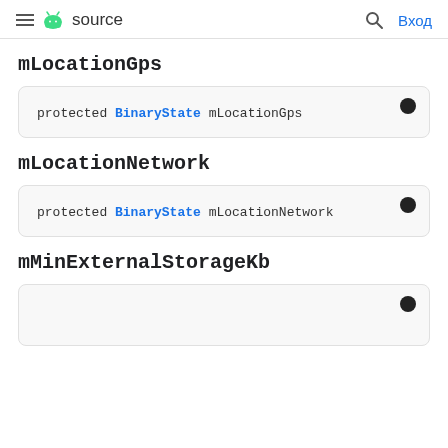source — Вход
mLocationGps
protected BinaryState mLocationGps
mLocationNetwork
protected BinaryState mLocationNetwork
mMinExternalStorageKb